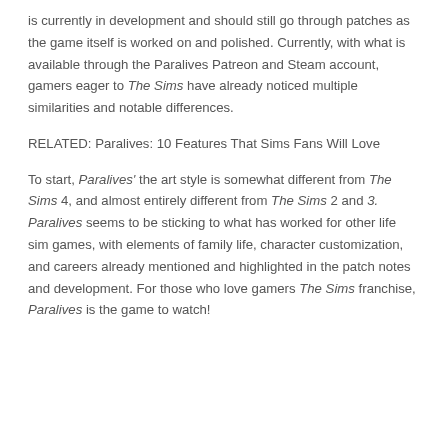is currently in development and should still go through patches as the game itself is worked on and polished. Currently, with what is available through the Paralives Patreon and Steam account, gamers eager to The Sims have already noticed multiple similarities and notable differences.
RELATED: Paralives: 10 Features That Sims Fans Will Love
To start, Paralives' the art style is somewhat different from The Sims 4, and almost entirely different from The Sims 2 and 3. Paralives seems to be sticking to what has worked for other life sim games, with elements of family life, character customization, and careers already mentioned and highlighted in the patch notes and development. For those who love gamers The Sims franchise, Paralives is the game to watch!